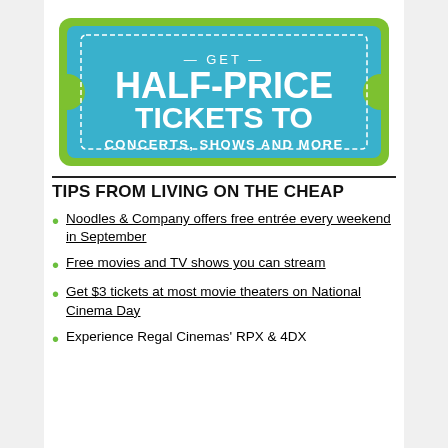[Figure (illustration): A ticket-shaped graphic with a green border and teal/blue background. Text reads: GET HALF-PRICE TICKETS TO CONCERTS, SHOWS AND MORE]
TIPS FROM LIVING ON THE CHEAP
Noodles & Company offers free entrée every weekend in September
Free movies and TV shows you can stream
Get $3 tickets at most movie theaters on National Cinema Day
Experience Regal Cinemas' RPX & 4DX